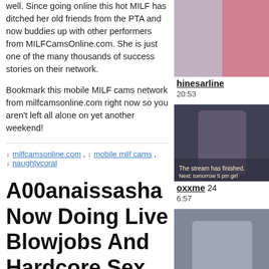well. Since going online this hot MILF has ditched her old friends from the PTA and now buddies up with other performers from MILFCamsOnline.com. She is just one of the many thousands of success stories on their network.
Bookmark this mobile MILF cams network from milfcamsonline.com right now so you aren't left all alone on yet another weekend!
↓ milfcamsonline.com , ↓ mobile milf cams , ↓ naughtycoral
[Figure (photo): Thumbnail of cam performer hinesarline, time 20:53]
hinesarline 20:53
[Figure (photo): Thumbnail of cam performer oxxme, time 6:57]
oxxme 24 6:57
[Figure (photo): Thumbnail of cam performer reee4mebb, time 32:41]
reee4mebb 27 32:41
A00anaissasha Now Doing Live Blowjobs And Hardcore Sex Cams Free